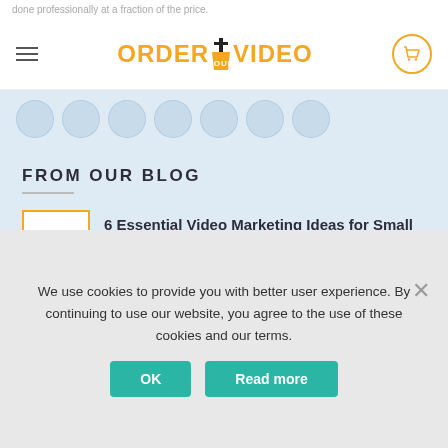ORDER YOUR VIDEO
done professionally at a fraction of the price.
FROM OUR BLOG
6 Essential Video Marketing Ideas for Small Businesses
Use Video to Spice Up the Content on Less Visited Pages
We use cookies to provide you with better user experience. By continuing to use our website, you agree to the use of these cookies and our terms.